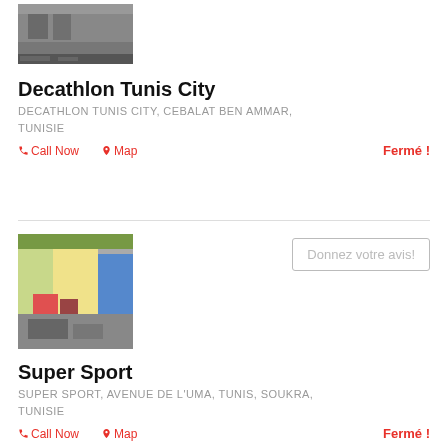[Figure (photo): Photo of Decathlon Tunis City store exterior]
Decathlon Tunis City
DECATHLON TUNIS CITY, CEBALAT BEN AMMAR, TUNISIE
Call Now   Map   Fermé !
[Figure (photo): Photo of Super Sport store interior with clothing displays]
Donnez votre avis!
Super Sport
SUPER SPORT, AVENUE DE L'UMA, TUNIS, SOUKRA, TUNISIE
Call Now   Map   Fermé !